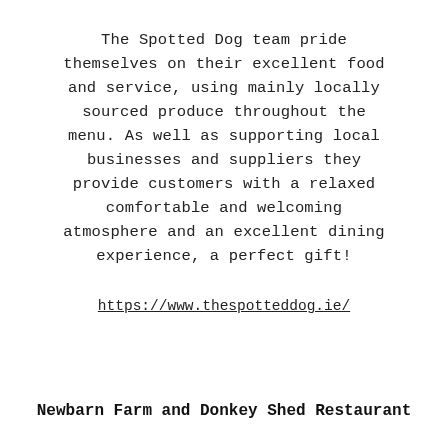The Spotted Dog team pride themselves on their excellent food and service, using mainly locally sourced produce throughout the menu. As well as supporting local businesses and suppliers they provide customers with a relaxed comfortable and welcoming atmosphere and an excellent dining experience, a perfect gift!
https://www.thespotteddog.ie/
Newbarn Farm and Donkey Shed Restaurant